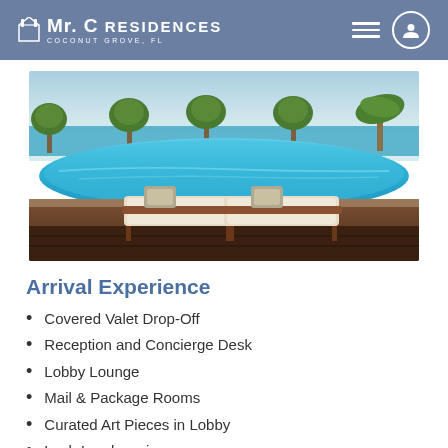Mr. C Residences Coconut Grove, FL
[Figure (photo): Luxury resort-style pool with lounge chairs and tropical trees, ocean view in background]
Arrival Experience
Covered Valet Drop-Off
Reception and Concierge Desk
Lobby Lounge
Mail & Package Rooms
Curated Art Pieces in Lobby
Lush Landscaping